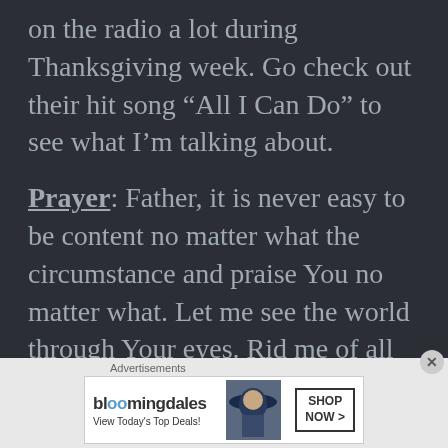on the radio a lot during Thanksgiving week.  Go check out their hit song “All I Can Do” to see what I’m talking about.
Prayer: Father, it is never easy to be content no matter what the circumstance and praise You no matter what.  Let me see the world through Your eyes.  Rid me of all complaints, and allow me to be
[Figure (other): Bloomingdale's advertisement banner with text 'View Today's Top Deals!' and 'SHOP NOW >' button, with image of woman in hat]